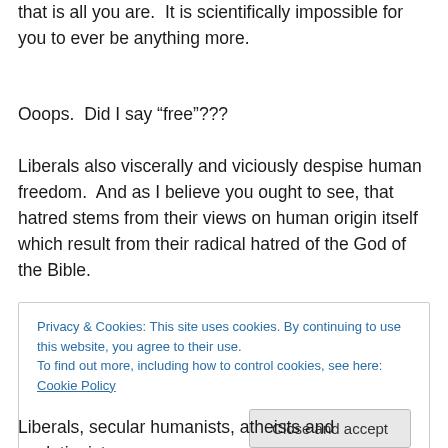that is all you are.  It is scientifically impossible for you to ever be anything more.
Ooops.  Did I say “free”???
Liberals also viscerally and viciously despise human freedom.  And as I believe you ought to see, that hatred stems from their views on human origin itself which result from their radical hatred of the God of the Bible.
[Figure (other): Partially visible advertisement banner with light blue border and 'REPORT THIS AD' text]
Privacy & Cookies: This site uses cookies. By continuing to use this website, you agree to their use.
To find out more, including how to control cookies, see here: Cookie Policy
Close and accept
Liberals, secular humanists, atheists and evolutionists